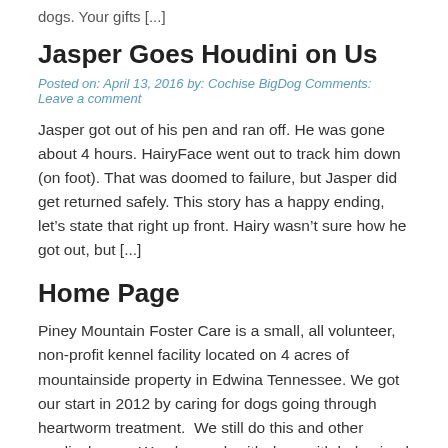dogs.  Your gifts [...]
Jasper Goes Houdini on Us
Posted on: April 13, 2016 by: Cochise BigDog Comments: Leave a comment
Jasper got out of his pen and ran off. He was gone about 4 hours. HairyFace went out to track him down (on foot). That was doomed to failure, but Jasper did get returned safely. This story has a happy ending, let’s state that right up front. Hairy wasn’t sure how he got out, but [...]
Home Page
Piney Mountain Foster Care is a small, all volunteer, non-profit kennel facility located on 4 acres of mountainside property in Edwina Tennessee. We got our start in 2012 by caring for dogs going through heartworm treatment.  We still do this and other medical care.  We also work with dogs with behavioral issues.  But we are [...]
Faith, The Sad Tale of a Foster Dog